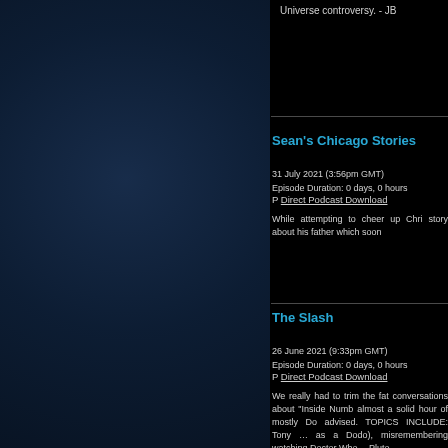Universe controversy. - JB
Sean's Chicago Stories
31 July 2021 (3:56pm GMT)
Episode Duration: 0 days, 0 hours
P Direct Podcast Download
While attempting to cheer up Chr story about his father which soon
The Slash
26 June 2021 (9:33pm GMT)
Episode Duration: 0 days, 0 hours
P Direct Podcast Download
We really had to trim the fat conversations about "Inside Numb almost a solid hour of mostly Do advised. TOPICS INCLUDE: Tony … as a Dodo), misremembering watching Doctor Who… Pluto